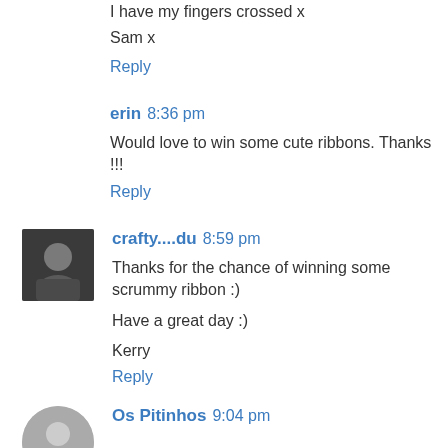I have my fingers crossed x
Sam x
Reply
erin  8:36 pm
Would love to win some cute ribbons. Thanks !!!
Reply
crafty....du  8:59 pm
Thanks for the chance of winning some scrummy ribbon :)
Have a great day :)
Kerry
Reply
Os Pitinhos  9:04 pm